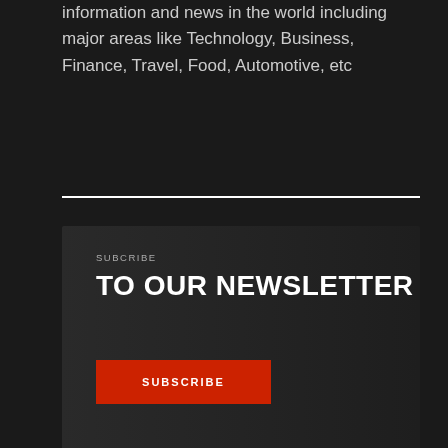information and news in the world including major areas like Technology, Business, Finance, Travel, Food, Automotive, etc
[Figure (other): Newsletter subscription widget with dark background, 'SUBCRIBE TO OUR NEWSLETTER' text and a red SUBSCRIBE button]
CUSTOM WIDGET
MOST COMMENTED